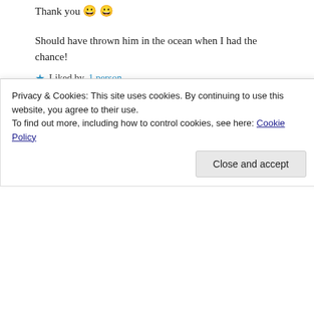Thank you 😀 😀
Should have thrown him in the ocean when I had the chance!
★ Liked by 1 person
REPLY
[Figure (infographic): DAY ONE journaling app advertisement banner with blue background, app icons, and text 'The only journaling app you'll ever need.']
REPORT THIS AD
Privacy & Cookies: This site uses cookies. By continuing to use this website, you agree to their use.
To find out more, including how to control cookies, see here: Cookie Policy
Close and accept